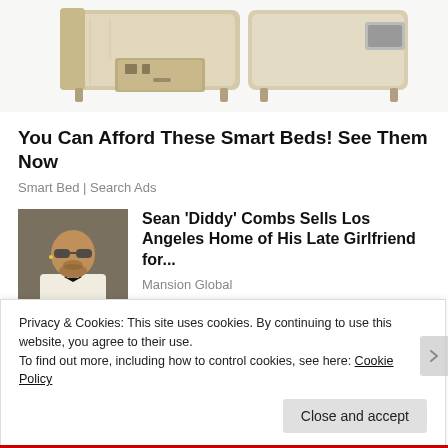[Figure (photo): Photo of a smart/luxury bed with storage drawer pulled out, beige upholstery, shown from above/side angle.]
You Can Afford These Smart Beds! See Them Now
Smart Bed | Search Ads
[Figure (photo): Headshot photo of Sean 'Diddy' Combs wearing sunglasses and a white suit with black bow tie.]
Sean ‘Diddy’ Combs Sells Los Angeles Home of His Late Girlfriend for...
Mansion Global
Privacy & Cookies: This site uses cookies. By continuing to use this website, you agree to their use.
To find out more, including how to control cookies, see here: Cookie Policy
Close and accept